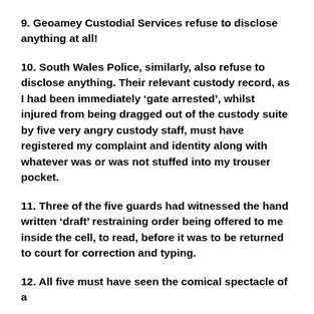9. Geoamey Custodial Services refuse to disclose anything at all!
10. South Wales Police, similarly, also refuse to disclose anything. Their relevant custody record, as I had been immediately ‘gate arrested’, whilst injured from being dragged out of the custody suite by five very angry custody staff, must have registered my complaint and identity along with whatever was or was not stuffed into my trouser pocket.
11. Three of the five guards had witnessed the hand written ‘draft’ restraining order being offered to me inside the cell, to read, before it was to be returned to court for correction and typing.
12. All five must have seen the comical spectacle of a